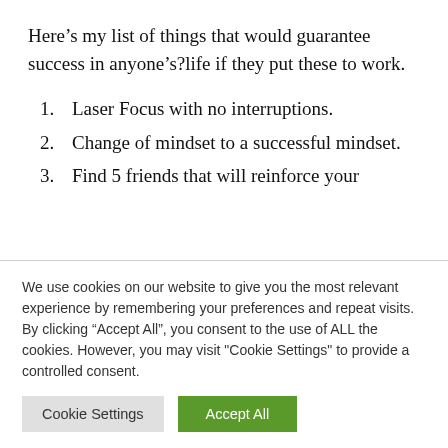Here’s my list of things that would guarantee success in anyone’s?life if they put these to work.
1. Laser Focus with no interruptions.
2. Change of mindset to a successful mindset.
3. Find 5 friends that will reinforce your
We use cookies on our website to give you the most relevant experience by remembering your preferences and repeat visits. By clicking “Accept All”, you consent to the use of ALL the cookies. However, you may visit "Cookie Settings" to provide a controlled consent.
Cookie Settings | Accept All